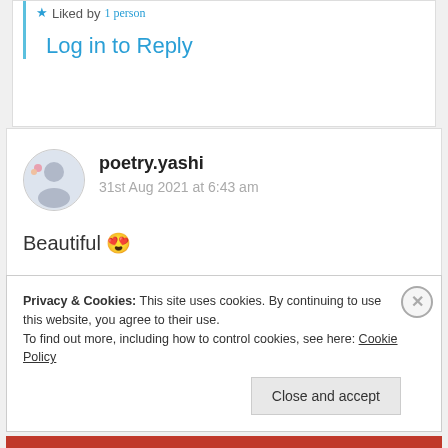Liked by 1 person
Log in to Reply
poetry.yashi
31st Aug 2021 at 6:43 am
Beautiful 😍
Liked by 1 person
Log in to Reply
Privacy & Cookies: This site uses cookies. By continuing to use this website, you agree to their use.
To find out more, including how to control cookies, see here: Cookie Policy
Close and accept